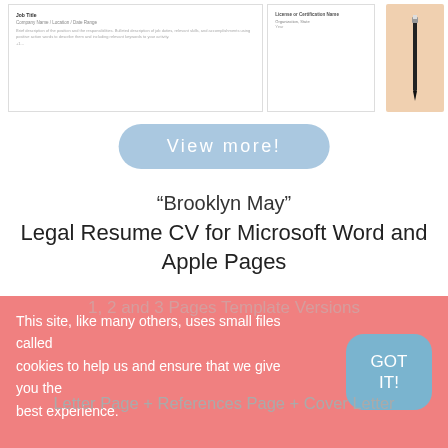[Figure (illustration): Screenshot of a resume template preview showing company name/location/date range fields and license or certification name fields, with a pen on a peach/beige background on the right side]
View more!
“Brooklyn May”
Legal Resume CV for Microsoft Word and Apple Pages
US Letter + A4 Sized Files
Microsoft Word (.docx) files and Apple Pages (.pages) files
1, 2 and 3 Pages Template Versions
Letter Page + References Page + Cover Letter
This site, like many others, uses small files called cookies to help us and ensure that we give you the best experience.
GOT IT!